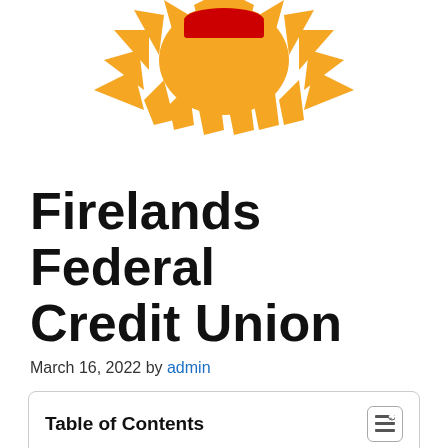[Figure (logo): Firelands Federal Credit Union logo — sunburst/gear shape in orange/gold with a red element at the top center, partially cropped at top of page]
Firelands Federal Credit Union
March 16, 2022 by admin
| Table of Contents |
| --- |
| 1. Firelands Federal Credit Union Is A Member Owned,. |
| 2. Firelands Federal Credit Union Operates As A Financial Cooperative. |